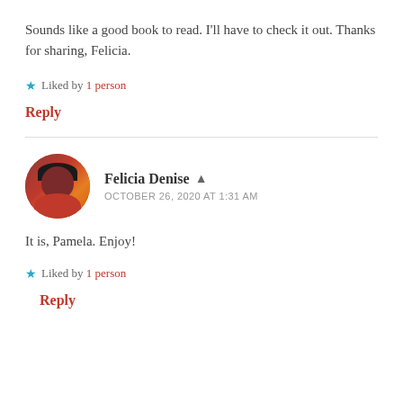Sounds like a good book to read. I'll have to check it out. Thanks for sharing, Felicia.
★ Liked by 1 person
Reply
Felicia Denise ▲
OCTOBER 26, 2020 AT 1:31 AM
It is, Pamela. Enjoy!
★ Liked by 1 person
Reply